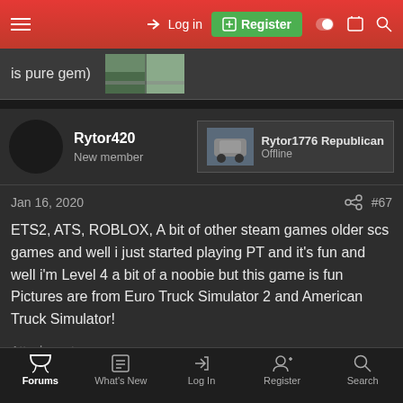Log in | Register
is pure gem)
Rytor420
New member
Rytor1776 Republican
Offline
Jan 16, 2020
#67
ETS2, ATS, ROBLOX, A bit of other steam games older scs games and well i just started playing PT and it's fun and well i'm Level 4 a bit of a noobie but this game is fun Pictures are from Euro Truck Simulator 2 and American Truck Simulator!
Attachments
Forums | What's New | Log In | Register | Search